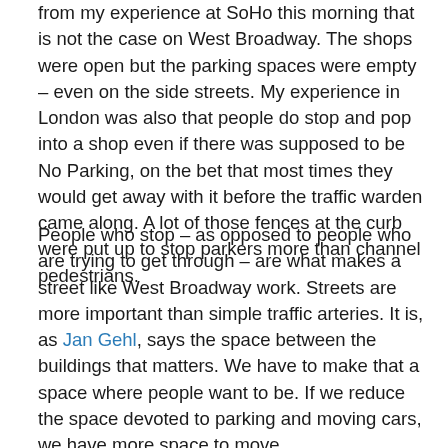from my experience at SoHo this morning that is not the case on West Broadway. The shops were open but the parking spaces were empty – even on the side streets. My experience in London was also that people do stop and pop into a shop even if there was supposed to be No Parking, on the bet that most times they would get away with it before the traffic warden came along. A lot of those fences at the curb were put up to stop parkers more than channel pedestrians.
People who stop – as opposed to people who are trying to get through – are what makes a street like West Broadway work. Streets are more important than simple traffic arteries. It is, as Jan Gehl, says the space between the buildings that matters. We have to make that a space where people want to be. If we reduce the space devoted to parking and moving cars, we have more space to move